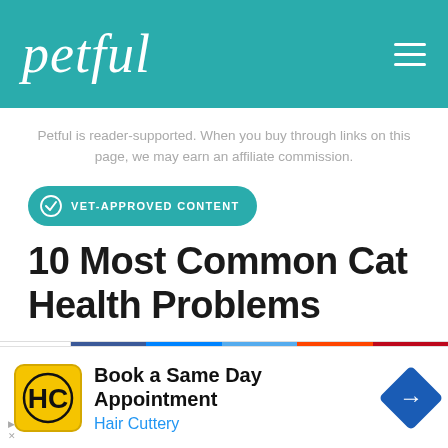petful
Petful is reader-supported. When you buy through links on this page, we may earn an affiliate commission.
VET-APPROVED CONTENT
10 Most Common Cat Health Problems
[Figure (other): Social share bar with Facebook, Messenger, Twitter, Reddit and Pinterest buttons]
[Figure (other): Advertisement banner: Book a Same Day Appointment - Hair Cuttery]